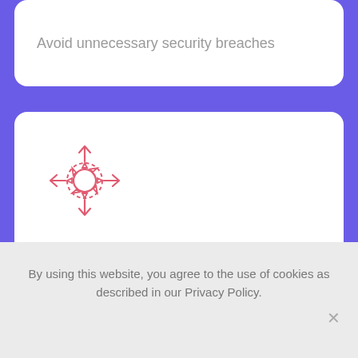Avoid unnecessary security breaches
[Figure (illustration): Red icon of a gear/cog with four directional arrows pointing up, down, left, and right — symbolizing scalability or movement]
Effectively scale your business when and where you need it
[Figure (illustration): Red icon of a thumbs up — partially visible at bottom of page]
By using this website, you agree to the use of cookies as described in our Privacy Policy.